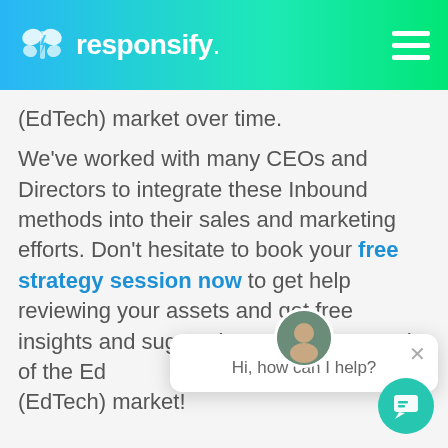responsify.
(EdTech) market over time.
We've worked with many CEOs and Directors to integrate these Inbound methods into their sales and marketing efforts. Don't hesitate to book your free strategy session now to get help reviewing your assets and get free insights and suggestions to get your end of the EdTech (EdTech) market!
[Figure (screenshot): Chat popup with avatar and message: Hi, how can I help?]